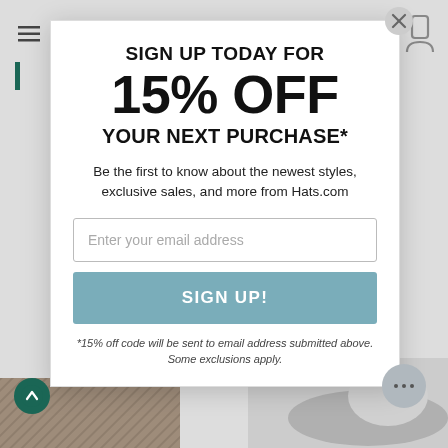[Figure (screenshot): Email signup modal popup overlay for Hats.com with 15% off promotion, email input field, and sign up button on a website background.]
SIGN UP TODAY FOR
15% OFF
YOUR NEXT PURCHASE*
Be the first to know about the newest styles, exclusive sales, and more from Hats.com
Enter your email address
SIGN UP!
*15% off code will be sent to email address submitted above. Some exclusions apply.